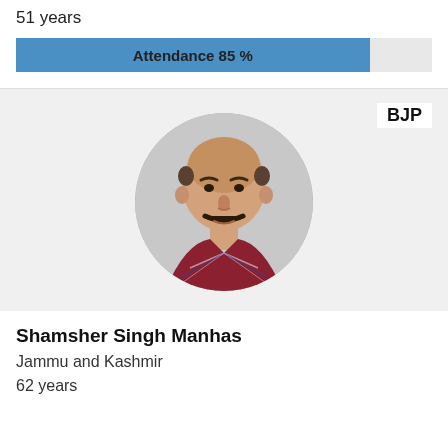51 years
[Figure (infographic): Attendance progress bar showing 85% attendance in blue]
BJP
[Figure (photo): Circular portrait photo of a middle-aged bald man with mustache wearing a plaid shirt]
Shamsher Singh Manhas
Jammu and Kashmir
62 years